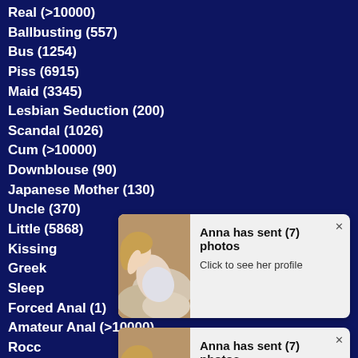Real (>10000)
Ballbusting (557)
Bus (1254)
Piss (6915)
Maid (3345)
Lesbian Seduction (200)
Scandal (1026)
Cum (>10000)
Downblouse (90)
Japanese Mother (130)
Uncle (370)
Little (5868)
Kissing (...)
Greek (...)
Sleeping (...)
Forced Anal (1)
Amateur Anal (>10000)
Rocco (...)
College (...)
Black (...)
Arabic (6410)
[Figure (screenshot): Popup notification: Anna has sent (7) photos. Click to see her profile. With thumbnail of woman. (First popup)]
[Figure (screenshot): Popup notification: Anna has sent (7) photos. Click to see her profile. With thumbnail of woman. (Second popup)]